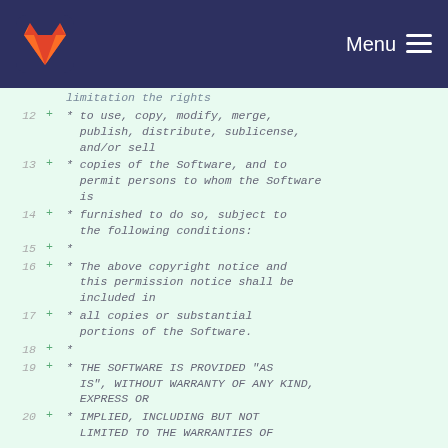GitLab — Menu
limitation the rights
12 + * to use, copy, modify, merge, publish, distribute, sublicense, and/or sell
13 + * copies of the Software, and to permit persons to whom the Software is
14 + * furnished to do so, subject to the following conditions:
15 + *
16 + * The above copyright notice and this permission notice shall be included in
17 + * all copies or substantial portions of the Software.
18 + *
19 + * THE SOFTWARE IS PROVIDED "AS IS", WITHOUT WARRANTY OF ANY KIND, EXPRESS OR
20 + * IMPLIED, INCLUDING BUT NOT LIMITED TO THE WARRANTIES OF